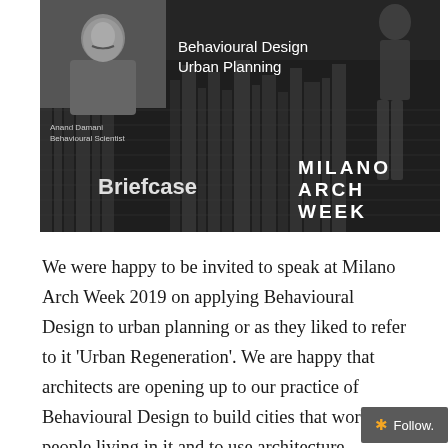[Figure (photo): Dark-toned promotional image for Milano Arch Week. Shows a man (Anand Damani, Behavioural Scientist) in the upper left against a cityscape background, a silhouette figure on the right, text overlay 'Behavioural Design / Urban Planning', 'Briefcase' in bold, and the 'MILANO ARCH WEEK' logo in angular lettering bottom right.]
We were happy to be invited to speak at Milano Arch Week 2019 on applying Behavioural Design to urban planning or as they liked to refer to it 'Urban Regeneration'. We are happy that architects are opening up to our practice of Behavioural Design to build cities that work for people living in it and to use architecture